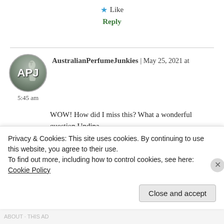★ Like
Reply
AustralianPerfumeJunkies | May 25, 2021 at 5:45 am
WOW! How did I miss this? What a wonderful question Undina.
Cutting out rose and iris makes it even more difficult.
Then I should also relegate lavender to the bin?
Privacy & Cookies: This site uses cookies. By continuing to use this website, you agree to their use.
To find out more, including how to control cookies, see here: Cookie Policy
Close and accept